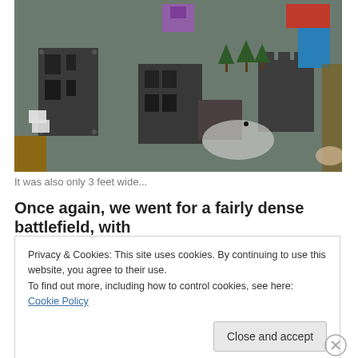[Figure (photo): Aerial view of a miniature wargaming battlefield with model buildings, ruins, trees, and vehicles on a green/grey mat surface]
It was also only 3 feet wide...
Once again, we went for a fairly dense battlefield, with
Privacy & Cookies: This site uses cookies. By continuing to use this website, you agree to their use.
To find out more, including how to control cookies, see here: Cookie Policy
Close and accept